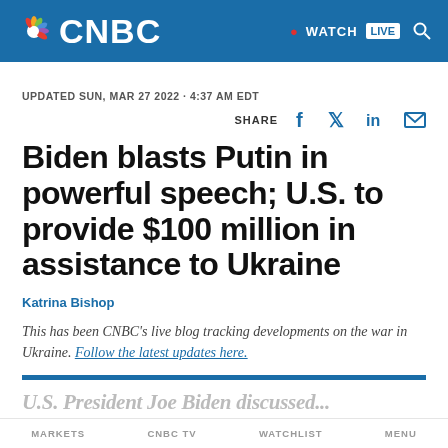CNBC | WATCH LIVE
UPDATED SUN, MAR 27 2022 · 4:37 AM EDT
Biden blasts Putin in powerful speech; U.S. to provide $100 million in assistance to Ukraine
Katrina Bishop
This has been CNBC's live blog tracking developments on the war in Ukraine. Follow the latest updates here.
U.S. President Joe Biden discussed...
MARKETS   CNBC TV   WATCHLIST   MENU